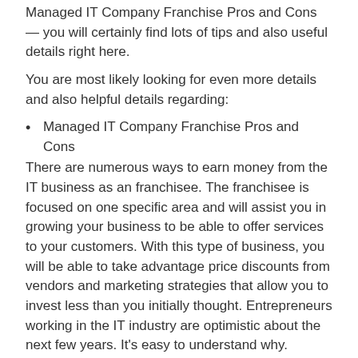Managed IT Company Franchise Pros and Cons — you will certainly find lots of tips and also useful details right here.
You are most likely looking for even more details and also helpful details regarding:
Managed IT Company Franchise Pros and Cons
There are numerous ways to earn money from the IT business as an franchisee. The franchisee is focused on one specific area and will assist you in growing your business to be able to offer services to your customers. With this type of business, you will be able to take advantage price discounts from vendors and marketing strategies that allow you to invest less than you initially thought. Entrepreneurs working in the IT industry are optimistic about the next few years. It's easy to understand why.
TeamLogic IT is an IT franchise that assists small-sized businesses get through the technological jungle. They are specialized in keeping small enterprises up operating with the most current technology. The company was founded in 2005 and includes more than 200 franchises all over the nation. The franchise model is focused on the creation of